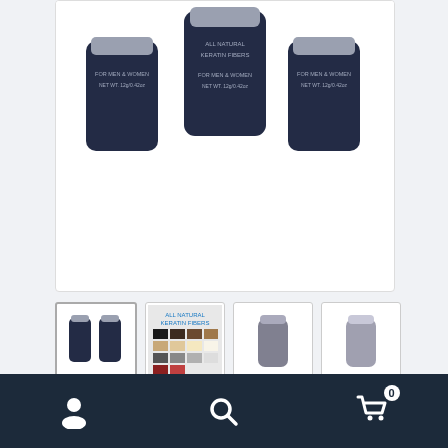[Figure (photo): Three dark navy blue cylindrical hair fiber containers labeled 'All Natural Keratin Fibers, For Men & Women, Net Wt. 12g/0.42oz' arranged side by side on white background]
[Figure (photo): Thumbnail 1: Two dark navy blue hair fiber containers side by side]
[Figure (photo): Thumbnail 2: Color swatch chart showing various hair color options]
[Figure (photo): Thumbnail 3: Single gray hair fiber container]
[Figure (photo): Thumbnail 4: Single gray hair fiber container, lighter shade]
TopSecret Fibers Regular Refill 3-Pack
Navigation bar with user icon, search icon, and cart icon with badge 0